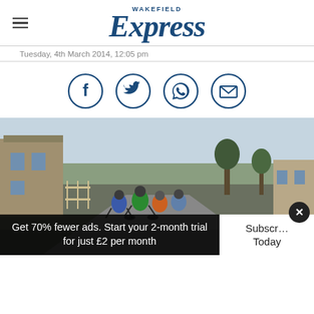Wakefield Express
Tuesday, 4th March 2014, 12:05 pm
[Figure (infographic): Social sharing icons: Facebook, Twitter, WhatsApp, Email — circular outline style in dark blue]
[Figure (photo): Group of cyclists riding along a road through a rural English village, with stone buildings and bare winter trees in the background. Riders wearing helmets and cycling jerseys.]
Get 70% fewer ads. Start your 2-month trial for just £2 per month
Subscribe Today